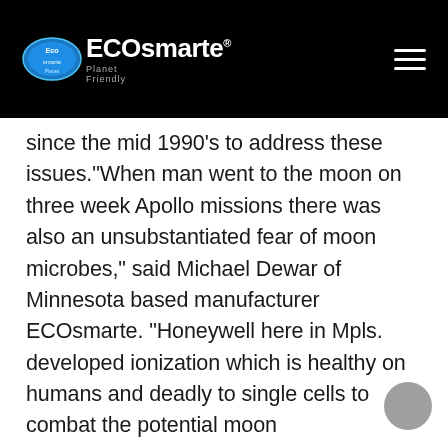ECOsmarte Planet Friendly
since the mid 1990's to address these issues.“When man went to the moon on three week Apollo missions there was also an unsubstantiated fear of moon microbes,” said Michael Dewar of Minnesota based manufacturer ECOsmarte. “Honeywell here in Mpls. developed ionization which is healthy on humans and deadly to single cells to combat the potential moon microbes.”Dewar added that the original technology was vacuum tube based and sold for approximately $1 million in 1968 dollars per lunar mission. Today the technology is semi-processor and chip based in a six by eight inch box and can be added to